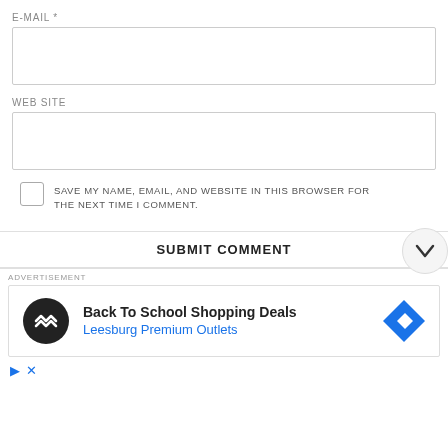E-MAIL *
[Figure (other): Empty email input text box]
WEB SITE
[Figure (other): Empty website input text box]
[Figure (other): Unchecked checkbox]
SAVE MY NAME, EMAIL, AND WEBSITE IN THIS BROWSER FOR THE NEXT TIME I COMMENT.
SUBMIT COMMENT
ADVERTISEMENT
[Figure (other): Advertisement banner: Back To School Shopping Deals, Leesburg Premium Outlets, with logo and arrow icon]